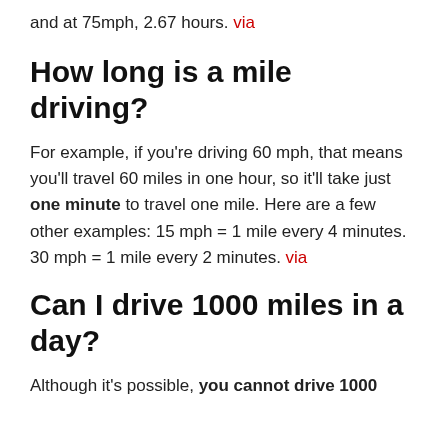and at 75mph, 2.67 hours. via
How long is a mile driving?
For example, if you're driving 60 mph, that means you'll travel 60 miles in one hour, so it'll take just one minute to travel one mile. Here are a few other examples: 15 mph = 1 mile every 4 minutes. 30 mph = 1 mile every 2 minutes. via
Can I drive 1000 miles in a day?
Although it's possible, you cannot drive 1000